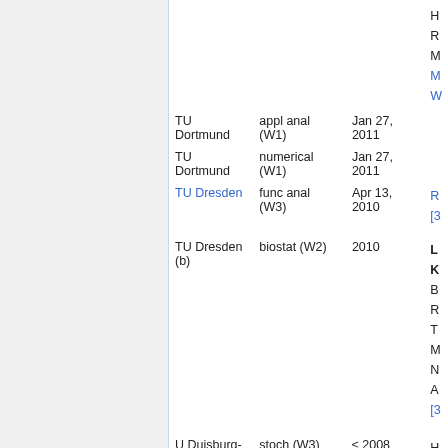| Institution | Field (level) | Date | Candidates |
| --- | --- | --- | --- |
| TU Dortmund | appl anal (W1) | Jan 27, 2011 | H…
R…
M…
M…
W… |
| TU Dortmund | numerical (W1) | Jan 27, 2011 |  |
| TU Dresden | func anal (W3) | Apr 13, 2010 | R…
[3… |
| TU Dresden
(b) | biostat (W2) | 2010 | L…
K…
B…
R…
T…
M…
N…
A…
[3… |
| U Duisburg-
Essen | stoch (W3) | ≤ 2008 | H…
H…
[3…
P… |